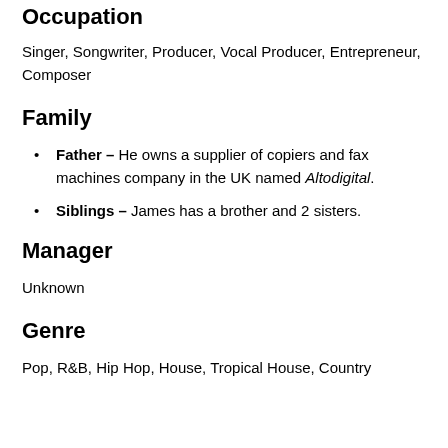Occupation
Singer, Songwriter, Producer, Vocal Producer, Entrepreneur, Composer
Family
Father – He owns a supplier of copiers and fax machines company in the UK named Altodigital.
Siblings – James has a brother and 2 sisters.
Manager
Unknown
Genre
Pop, R&B, Hip Hop, House, Tropical House, Country